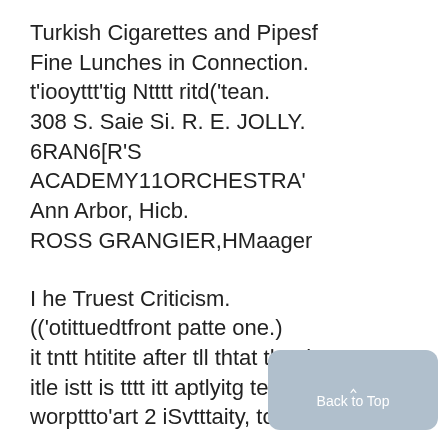Turkish Cigarettes and Pipesf
Fine Lunches in Connection.
t'iooyttt'tig Ntttt ritd('tean.
308 S. Saie Si. R. E. JOLLY.
6RAN6[R'S
ACADEMY11ORCHESTRA'
Ann Arbor, Hicb.
ROSS GRANGIER,HMaager
I he Truest Criticism.
(('otittuedtfront patte one.)
it tntt htitite after tll thtat thte lest
itle istt is tttt itt aptlyitg tetarned
worpttto'art 2 iSvtttaity, tove